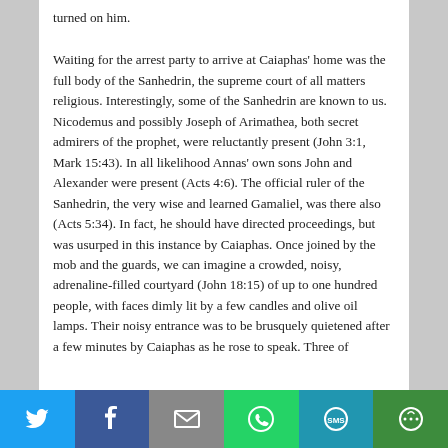turned on him.
Waiting for the arrest party to arrive at Caiaphas' home was the full body of the Sanhedrin, the supreme court of all matters religious. Interestingly, some of the Sanhedrin are known to us. Nicodemus and possibly Joseph of Arimathea, both secret admirers of the prophet, were reluctantly present (John 3:1, Mark 15:43). In all likelihood Annas' own sons John and Alexander were present (Acts 4:6). The official ruler of the Sanhedrin, the very wise and learned Gamaliel, was there also (Acts 5:34). In fact, he should have directed proceedings, but was usurped in this instance by Caiaphas. Once joined by the mob and the guards, we can imagine a crowded, noisy, adrenaline-filled courtyard (John 18:15) of up to one hundred people, with faces dimly lit by a few candles and olive oil lamps. Their noisy entrance was to be brusquely quietened after a few minutes by Caiaphas as he rose to speak. Three of
[Figure (infographic): Social sharing bar with icons for Twitter, Facebook, Email, WhatsApp, SMS, and More]